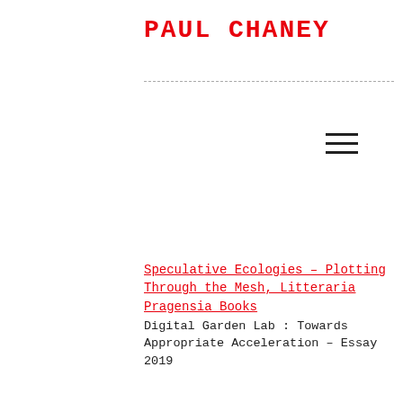PAUL CHANEY
Speculative Ecologies – Plotting Through the Mesh, Litteraria Pragensia Books
Digital Garden Lab : Towards Appropriate Acceleration – Essay
2019
Ecovention Europe – Art to Transform Ecologies, Sue Spaid, Museum De Domijnen
Practice review
2017
Status Krajinána – Falkulta Unemni Tecknická Univerzita, Košice, Slovakia
Webs, Landscapes, and Enmeshement – Essay